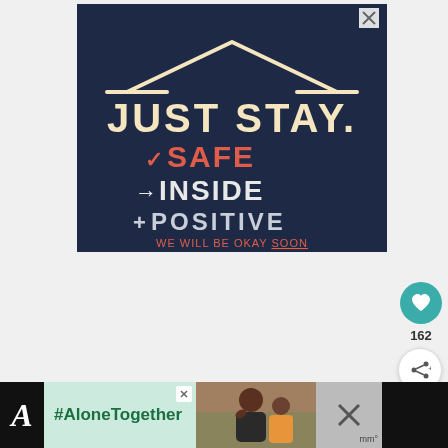[Figure (illustration): Dark navy blue advertisement graphic with hand-drawn style text. Shows a house roofline outline at top. Text reads: 'JUST STAY' in large cream/yellow letters, then 'v SAFE' in red/coral with checkmark, '→ INSIDE' in white with arrow, '+ POSITIVE' in light gray/white. Bottom text: 'WE WILL BE OKAY SOON' in small red letters with 'SOON' underlined. Close button X in top right corner.]
162
[Figure (infographic): Bottom banner ad with black left section showing italic 'A', green section with '#AloneTogether' text, photo of man and child waving, and close X buttons on right.]